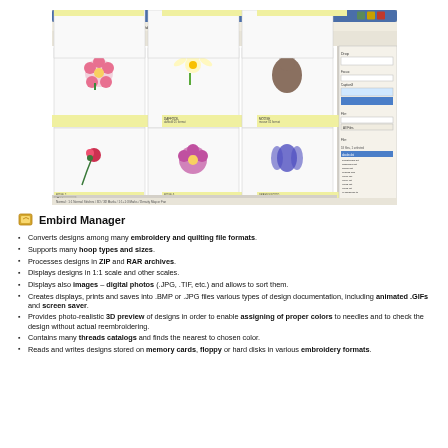[Figure (screenshot): Screenshot of Embird 2012 Manager software showing embroidery design thumbnails including flowers, a moose, squirrel, tiger, and other designs in a grid layout with file management panels on the right side.]
Embird Manager
Converts designs among many embroidery and quilting file formats.
Supports many hoop types and sizes.
Processes designs in ZIP and RAR archives.
Displays designs in 1:1 scale and other scales.
Displays also images – digital photos (JPG, .TIF, etc.) and allows to sort them.
Creates displays, prints and saves into .BMP or .JPG files various types of design documentation, including animated .GIFs and screen saver.
Provides photo-realistic 3D preview of designs in order to enable assigning of proper colors to needles and to check the design without actual reembroidering.
Contains many threads catalogs and finds the nearest to chosen color.
Reads and writes designs stored on memory cards, floppy or hard disks in various embroidery formats.